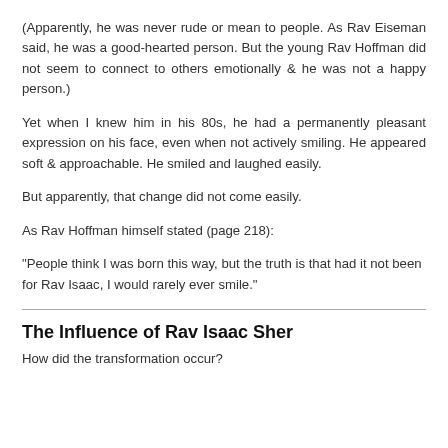(Apparently, he was never rude or mean to people. As Rav Eiseman said, he was a good-hearted person. But the young Rav Hoffman did not seem to connect to others emotionally & he was not a happy person.)
Yet when I knew him in his 80s, he had a permanently pleasant expression on his face, even when not actively smiling. He appeared soft & approachable. He smiled and laughed easily.
But apparently, that change did not come easily.
As Rav Hoffman himself stated (page 218):
"People think I was born this way, but the truth is that had it not been for Rav Isaac, I would rarely ever smile."
The Influence of Rav Isaac Sher
How did the transformation occur?